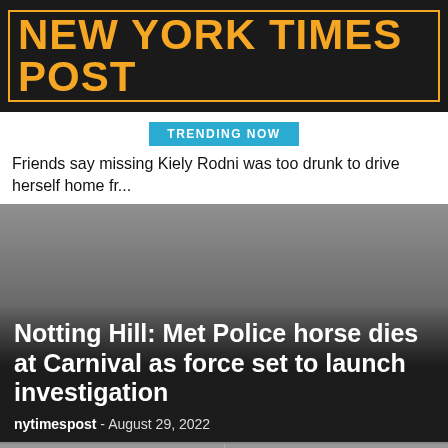NEW YORK TIMES POST
TRENDING NOW
Friends say missing Kiely Rodni was too drunk to drive herself home fr...
[Figure (photo): Dark gradient image serving as background for main article about Notting Hill Carnival Met Police horse death]
Notting Hill: Met Police horse dies at Carnival as force set to launch investigation
nytimespost  -  August 29, 2022
[Figure (photo): Bottom left article card with dark gradient background, partial headline visible]
[Figure (photo): Bottom right article card with dark gradient background, partial headline visible]